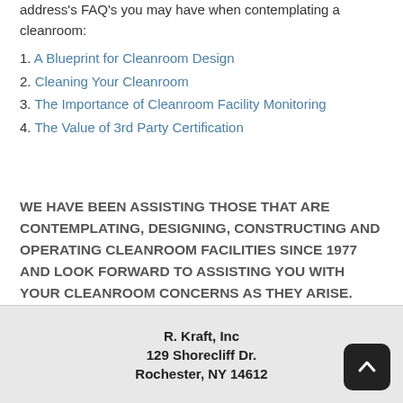address's FAQ's you may have when contemplating a cleanroom:
1. A Blueprint for Cleanroom Design
2. Cleaning Your Cleanroom
3. The Importance of Cleanroom Facility Monitoring
4. The Value of 3rd Party Certification
WE HAVE BEEN ASSISTING THOSE THAT ARE CONTEMPLATING, DESIGNING, CONSTRUCTING AND OPERATING CLEANROOM FACILITIES SINCE 1977 AND LOOK FORWARD TO ASSISTING YOU WITH YOUR CLEANROOM CONCERNS AS THEY ARISE.
R. Kraft, Inc
129 Shorecliff Dr.
Rochester, NY 14612